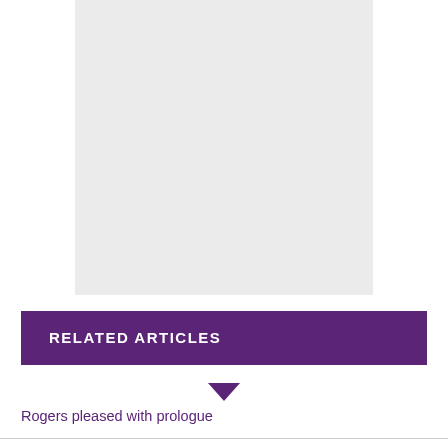[Figure (other): Large light gray rectangle placeholder image area]
RELATED ARTICLES
Rogers pleased with prologue